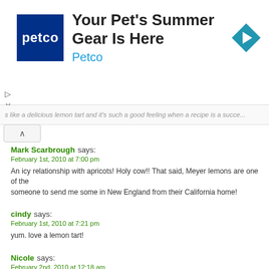[Figure (infographic): Petco advertisement banner: Petco logo (white text on dark blue square), headline 'Your Pet's Summer Gear Is Here', brand name 'Petco' in blue, and a blue diamond-shaped navigation icon with right arrow]
s like a delicious lemon tart and it's such a good feeling when a recipe is a succe…
Mark Scarbrough says:
February 1st, 2010 at 7:00 pm

An icy relationship with apricots! Holy cow!! That said, Meyer lemons are one of the… someone to send me some in New England from their California home!
cindy says:
February 1st, 2010 at 7:21 pm

yum. love a lemon tart!
Nicole says:
February 2nd, 2010 at 12:18 am

the lemon curd look so smooth and silky!
I bet that taste absolutely heaven
Mrs Erqül says: